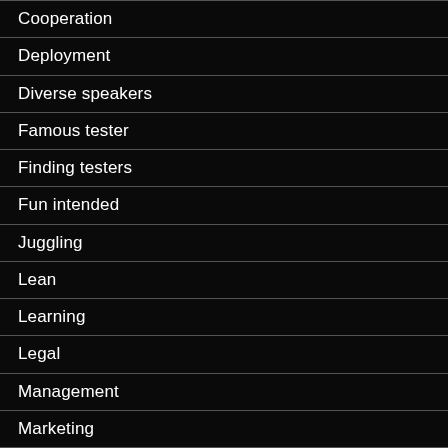Cooperation
Deployment
Diverse speakers
Famous tester
Finding testers
Fun intended
Juggling
Lean
Learning
Legal
Management
Marketing